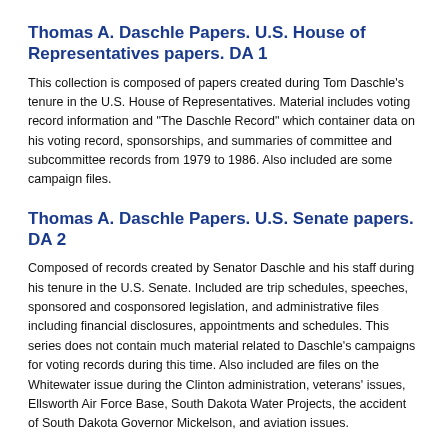Thomas A. Daschle Papers. U.S. House of Representatives papers. DA 1
This collection is composed of papers created during Tom Daschle's tenure in the U.S. House of Representatives. Material includes voting record information and "The Daschle Record" which container data on his voting record, sponsorships, and summaries of committee and subcommittee records from 1979 to 1986. Also included are some campaign files.
Thomas A. Daschle Papers. U.S. Senate papers. DA 2
Composed of records created by Senator Daschle and his staff during his tenure in the U.S. Senate. Included are trip schedules, speeches, sponsored and cosponsored legislation, and administrative files including financial disclosures, appointments and schedules. This series does not contain much material related to Daschle's campaigns for voting records during this time. Also included are files on the Whitewater issue during the Clinton administration, veterans' issues, Ellsworth Air Force Base, South Dakota Water Projects, the accident of South Dakota Governor Mickelson, and aviation issues.
Thomas A. Daschle Papers. Personal papers. DA 3
The Personal Papers are composed of materials Daschle separated from the rest of the collection which were of personal interest to him. Included are pre-congressional materials, campaign records, legislative records,